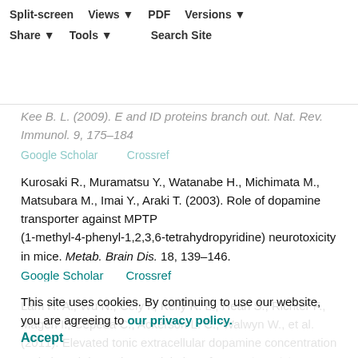Split-screen | Views | PDF | Versions | Share | Tools | Search Site
Kurosaki R., Muramatsu Y., Watanabe H., Michimata M., Matsubara M., Imai Y., Araki T. (2003). Role of dopamine transporter against MPTP (1-methyl-4-phenyl-1,2,3,6-tetrahydropyridine) neurotoxicity in mice. Metab. Brain Dis. 18, 139–146.
Google Scholar   Crossref
Lam H. A., Wu N., Cely I., Kelly R. L., Hean S., Richter F., Magen I., Cepeda C., Ackerson L. C., Walwyn W., et al. (2011). Elevated tonic extracellular dopamine concentration and altered dopamine modulation of synaptic activity precede dopamine loss in the striatum of mice overexpressing human α-synuclein. J. Neurosci. Res. 89, 1091–1102.
Google Scholar   Crossref
This site uses cookies. By continuing to use our website, you are agreeing to our privacy policy. Accept